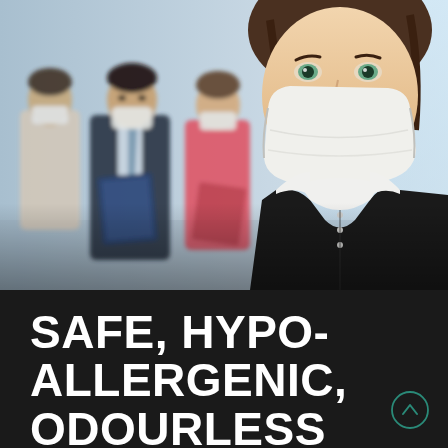[Figure (photo): Group of business people wearing white protective face masks in an office corridor. In the background, three colleagues (two men and a woman in pink) are looking at a blue folder. In the foreground right, a woman in a black vest over white shirt with green eyes looks directly at the camera, also wearing a white mask.]
SAFE, HYPO-ALLERGENIC, ODOURLESS